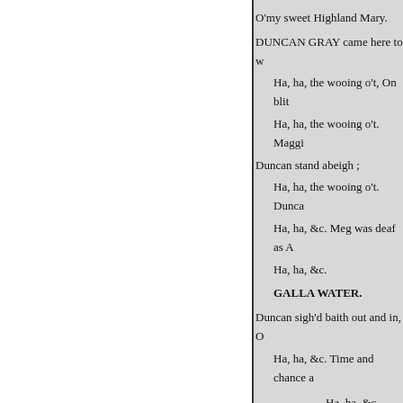O'my sweet Highland Mary.
DUNCAN GRAY came here to w
Ha, ha, the wooing o't, On blit
Ha, ha, the wooing o't. Maggi
Duncan stand abeigh ;
Ha, ha, the wooing o't. Dunca
Ha, ha, &c. Meg was deaf as A
Ha, ha, &c.
GALLA WATER.
Duncan sigh'd baith out and in, O
Ha, ha, &c. Time and chance a
Ha, ha, &c.
Slighted love is sair to bide.
Ha, ha, &c.
Shall I, like a fool, quoth he
For a haughty hizzie die ?
She may gae to-France for i
Ha, ha, &c.